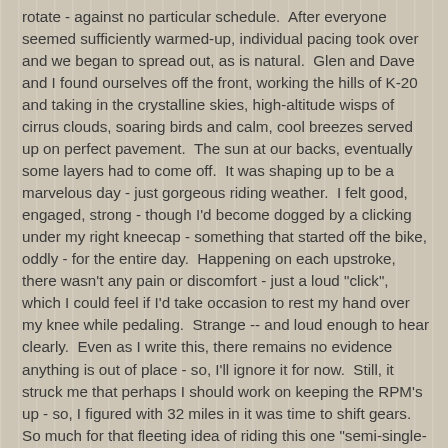rotate - against no particular schedule.  After everyone seemed sufficiently warmed-up, individual pacing took over and we began to spread out, as is natural.  Glen and Dave and I found ourselves off the front, working the hills of K-20 and taking in the crystalline skies, high-altitude wisps of cirrus clouds, soaring birds and calm, cool breezes served up on perfect pavement.  The sun at our backs, eventually some layers had to come off.  It was shaping up to be a marvelous day - just gorgeous riding weather.  I felt good, engaged, strong - though I'd become dogged by a clicking under my right kneecap - something that started off the bike, oddly - for the entire day.  Happening on each upstroke, there wasn't any pain or discomfort - just a loud "click", which I could feel if I'd take occasion to rest my hand over my knee while pedaling.  Strange -- and loud enough to hear clearly.  Even as I write this, there remains no evidence anything is out of place - so, I'll ignore it for now.  Still, it struck me that perhaps I should work on keeping the RPM's up - so, I figured with 32 miles in it was time to shift gears.  So much for that fleeting idea of riding this one "semi-single-speed".
Detours on Nutrition: